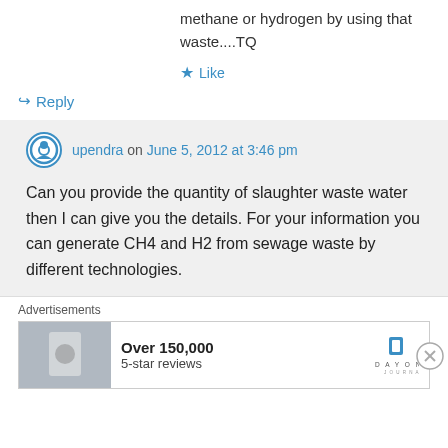methane or hydrogen by using that waste....TQ
Like
Reply
upendra on June 5, 2012 at 3:46 pm
Can you provide the quantity of slaughter waste water then I can give you the details. For your information you can generate CH4 and H2 from sewage waste by different technologies.
Advertisements
Over 150,000 5-star reviews